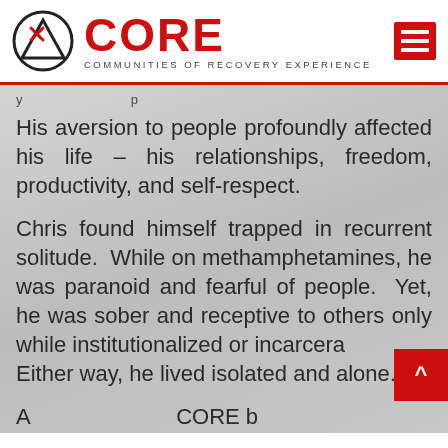[Figure (logo): CORE Communities of Recovery Experience logo with circular mountain/triangle icon, red bold CORE text and subtitle, plus hamburger menu icon in red on the right]
His aversion to people profoundly affected his life – his relationships, freedom, productivity, and self-respect.
Chris found himself trapped in recurrent solitude. While on methamphetamines, he was paranoid and fearful of people. Yet, he was sober and receptive to others only while institutionalized or incarcerated. Either way, he lived isolated and alone.
As a brie f overview, the CORE b...